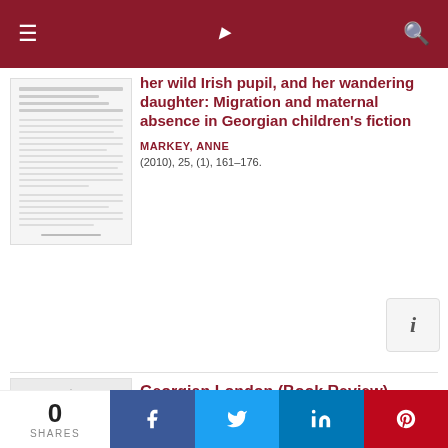Navigation bar with menu, logo, and search
her wild Irish pupil, and her wandering daughter: Migration and maternal absence in Georgian children's fiction
MARKEY, ANNE
(2010), 25, (1), 161–176.
Georgian London (Book Review)
(1947), 19, (3-4), 171–174.
0 SHARES | Facebook | Twitter | LinkedIn | Pinterest